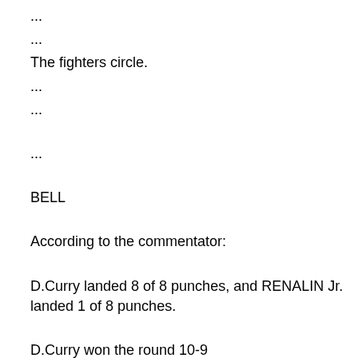...
...
The fighters circle.
...
...
...
BELL
According to the commentator:
D.Curry landed 8 of 8 punches, and RENALIN Jr. landed 1 of 8 punches.
D.Curry won the round 10-9
D.Curry is winning the fight 120-108